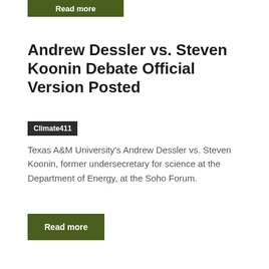[Figure (other): Read more button (dark olive green) partially visible at top of page]
Andrew Dessler vs. Steven Koonin Debate Official Version Posted
Climate411
Texas A&M University's Andrew Dessler vs. Steven Koonin, former undersecretary for science at the Department of Energy, at the Soho Forum.
Read more
Oops: Alaskan Electric Buses Run Out of Power in Winter
Climate411
Who could have guessed electric vehicles might struggle in cold